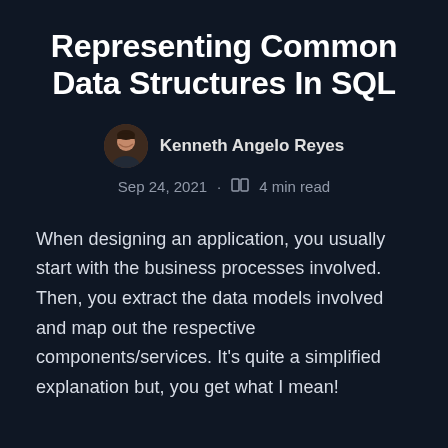Representing Common Data Structures In SQL
Kenneth Angelo Reyes
Sep 24, 2021 · 4 min read
When designing an application, you usually start with the business processes involved. Then, you extract the data models involved and map out the respective components/services. It's quite a simplified explanation but, you get what I mean!